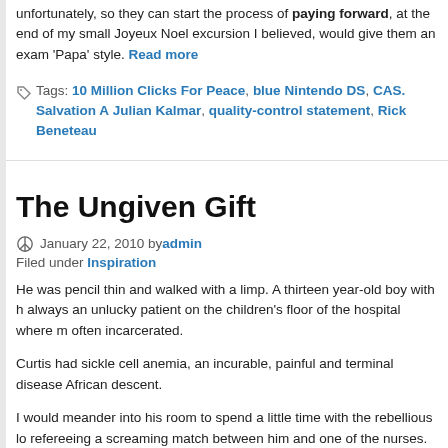unfortunately, so they can start the process of paying forward, at the end of my small Joyeux Noel excursion I believed, would give them an exam 'Papa' style. Read more
Tags: 10 Million Clicks For Peace, blue Nintendo DS, CAS. Salvation A, Julian Kalmar, quality-control statement, Rick Beneteau
The Ungiven Gift
January 22, 2010 by admin
Filed under Inspiration
He was pencil thin and walked with a limp. A thirteen year-old boy with h always an unlucky patient on the children's floor of the hospital where m often incarcerated.
Curtis had sickle cell anemia, an incurable, painful and terminal disease African descent.
I would meander into his room to spend a little time with the rebellious lo refereeing a screaming match between him and one of the nurses. The s win.
Over the course of a few years (the hospital was always my home-away learned of the horror of his upbringing, the sad reality of his current life a future. Read more